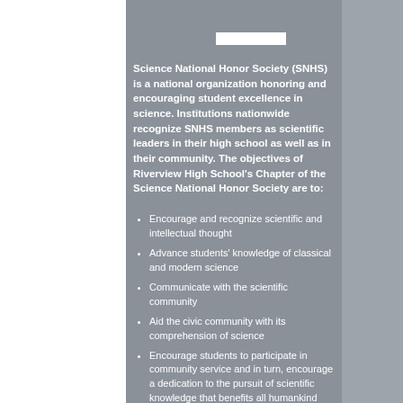Science National Honor Society (SNHS) is a national organization honoring and encouraging student excellence in science. Institutions nationwide recognize SNHS members as scientific leaders in their high school as well as in their community. The objectives of Riverview High School's Chapter of the Science National Honor Society are to:
Encourage and recognize scientific and intellectual thought
Advance students' knowledge of classical and modern science
Communicate with the scientific community
Aid the civic community with its comprehension of science
Encourage students to participate in community service and in turn, encourage a dedication to the pursuit of scientific knowledge that benefits all humankind